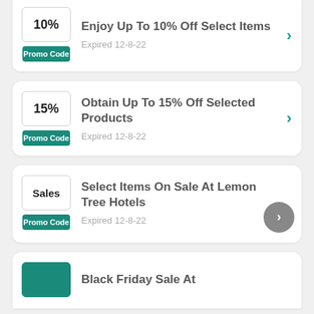10% Promo Code – Enjoy Up To 10% Off Select Items – Expired 12-8-22
15% Promo Code – Obtain Up To 15% Off Selected Products – Expired 12-8-22
Sales Promo Code – Select Items On Sale At Lemon Tree Hotels – Expired 12-8-22
Black Friday Sale At ...